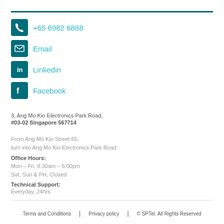+65 6982 6888
Email
Linkedin
Facebook
3, Ang Mo Kio Electronics Park Road,
#03-02 Singapore 567714
From Ang Mo Kio Street 65,
turn into Ang Mo Kio Electronics Park Road
Office Hours:
Mon – Fri, 8.30am – 6.00pm
Sat, Sun & PH, Closed
Technical Support:
Everyday, 24hrs
Terms and Conditions | Privacy policy | © SPTel. All Rights Reserved